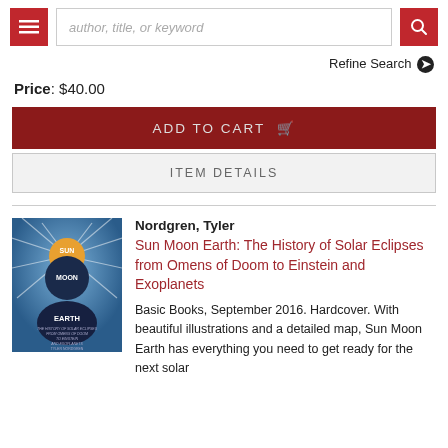[Figure (screenshot): Navigation bar with hamburger menu button (red), search input field with placeholder 'author, title, or keyword', and red search button]
Refine Search ❯
Price: $40.00
ADD TO CART 🛒
ITEM DETAILS
Nordgren, Tyler
Sun Moon Earth: The History of Solar Eclipses from Omens of Doom to Einstein and Exoplanets
Basic Books, September 2016. Hardcover. With beautiful illustrations and a detailed map, Sun Moon Earth has everything you need to get ready for the next solar